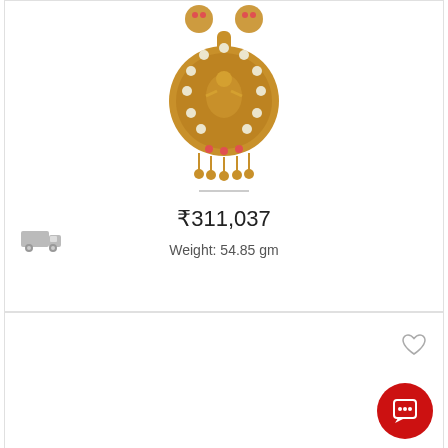[Figure (photo): Gold temple jewelry pendant/necklace with Lakshmi deity motif, ruby stones, and gold bead tassels]
₹311,037
Weight: 54.85 gm
[Figure (photo): Second jewelry product card (mostly empty/white area visible)]